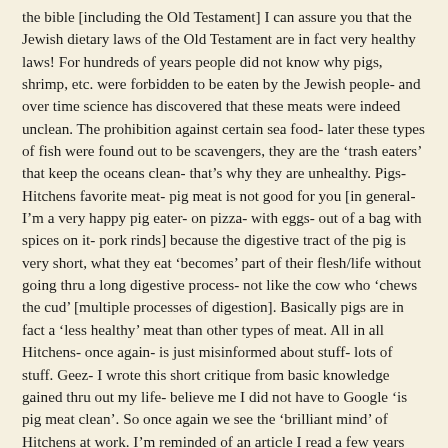the bible [including the Old Testament] I can assure you that the Jewish dietary laws of the Old Testament are in fact very healthy laws! For hundreds of years people did not know why pigs, shrimp, etc. were forbidden to be eaten by the Jewish people- and over time science has discovered that these meats were indeed unclean. The prohibition against certain sea food- later these types of fish were found out to be scavengers, they are the ‘trash eaters’ that keep the oceans clean- that’s why they are unhealthy. Pigs- Hitchens favorite meat- pig meat is not good for you [in general- I’m a very happy pig eater- on pizza- with eggs- out of a bag with spices on it- pork rinds] because the digestive tract of the pig is very short, what they eat ‘becomes’ part of their flesh/life without going thru a long digestive process- not like the cow who ‘chews the cud’ [multiple processes of digestion]. Basically pigs are in fact a ‘less healthy’ meat than other types of meat. All in all Hitchens- once again- is just misinformed about stuff- lots of stuff. Geez- I wrote this short critique from basic knowledge gained thru out my life- believe me I did not have to Google ‘is pig meat clean’. So once again we see the ‘brilliant mind’ of Hitchens at work. I’m reminded of an article I read a few years back- it was a column by Maureen Dowd [the liberal columnist]. She gave her conservative brother a free shot to use her column to blast liberals. He went at it- in pure tea party